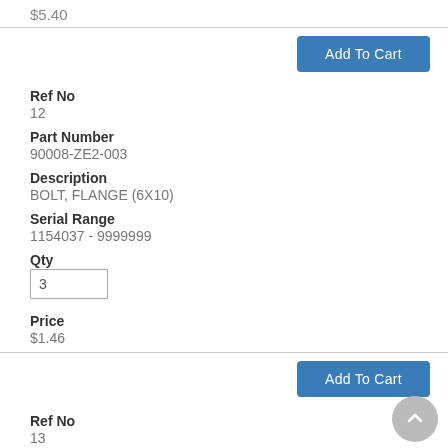$5.40
Add To Cart
Ref No
12
Part Number
90008-ZE2-003
Description
BOLT, FLANGE (6X10)
Serial Range
1154037 - 9999999
Qty
3
Price
$1.46
Add To Cart
Ref No
13